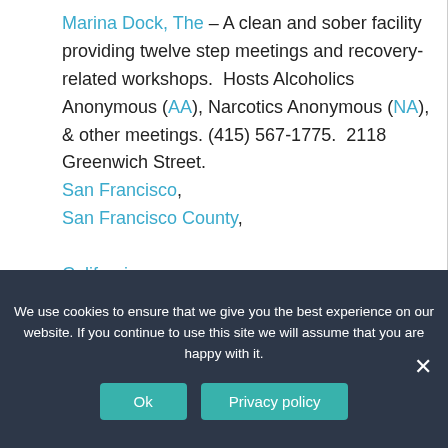Marina Dock, The – A clean and sober facility providing twelve step meetings and recovery-related workshops.  Hosts Alcoholics Anonymous (AA), Narcotics Anonymous (NA), & other meetings. (415) 567-1775.  2118 Greenwich Street. San Francisco, San Francisco County, California.
We use cookies to ensure that we give you the best experience on our website. If you continue to use this site we will assume that you are happy with it.